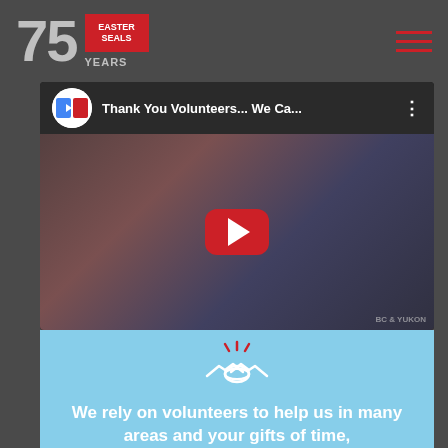[Figure (logo): 75 Years logo with red badge block on left, hamburger menu icon on right]
[Figure (screenshot): YouTube video thumbnail showing two people smiling, titled 'Thank You Volunteers... We Ca...']
[Figure (illustration): Handshake icon in white with red sparkle lines on light blue background]
We rely on volunteers to help us in many areas and your gifts of time,